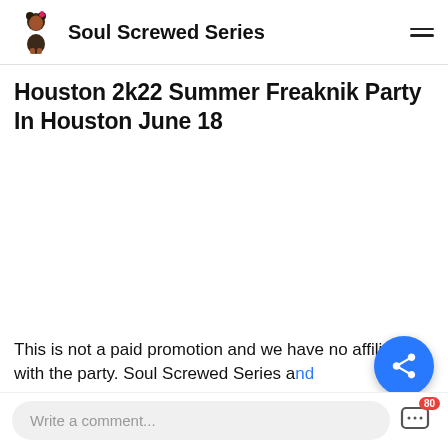Soul Screwed Series
Houston 2k22 Summer Freaknik Party In Houston June 18
[Figure (other): Blank white content image area for article]
This is not a paid promotion and we have no affiliation with the party. Soul Screwed Series and…